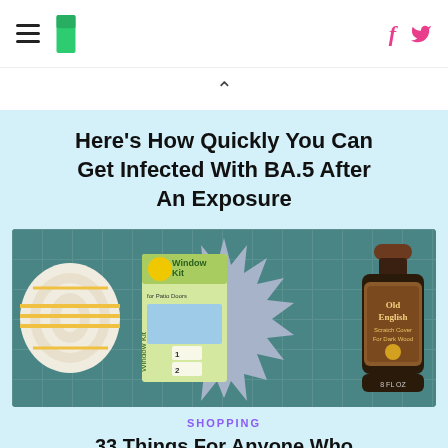HuffPost navigation with hamburger menu, logo, Facebook and Twitter icons
Here's How Quickly You Can Get Infected With BA.5 After An Exposure
[Figure (photo): Product photo showing a foam weatherstrip roll, Duck brand Window Kit box, and Old English Scratch Cover for Dark Wood 8 FL OZ bottle, on a teal tile background with a spiky star burst shape behind the products.]
SHOPPING
33 Things For Anyone Who